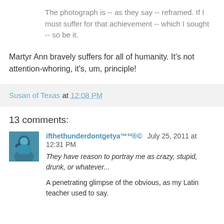The photograph is -- as they say -- reframed. If I must suffer for that achievement -- which I sought -- so be it.
Martyr Ann bravely suffers for all of humanity. It's not attention-whoring, it's, um, principle!
Susan of Texas at 12:08 PM
13 comments:
[Figure (photo): Small avatar image of a person or figure, teal/blue tones]
ifthethunderdontgetya™³²®© July 25, 2011 at 12:31 PM
They have reason to portray me as crazy, stupid, drunk, or whatever...

A penetrating glimpse of the obvious, as my Latin teacher used to say.